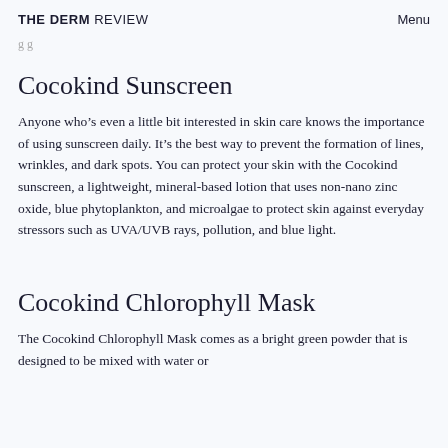THE DERM REVIEW   Menu
g g
Cocokind Sunscreen
Anyone who’s even a little bit interested in skin care knows the importance of using sunscreen daily. It’s the best way to prevent the formation of lines, wrinkles, and dark spots. You can protect your skin with the Cocokind sunscreen, a lightweight, mineral-based lotion that uses non-nano zinc oxide, blue phytoplankton, and microalgae to protect skin against everyday stressors such as UVA/UVB rays, pollution, and blue light.
Cocokind Chlorophyll Mask
The Cocokind Chlorophyll Mask comes as a bright green powder that is designed to be mixed with water or